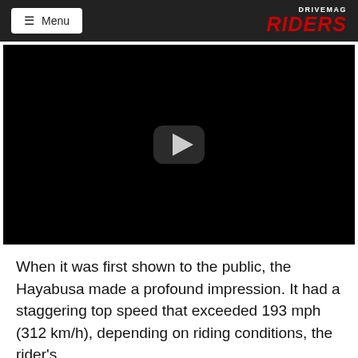≡ Menu | DRIVEMAG RIDERS
[Figure (screenshot): Black video player thumbnail with a play button in the center]
When it was first shown to the public, the Hayabusa made a profound impression. It had a staggering top speed that exceeded 193 mph (312 km/h), depending on riding conditions, the rider's